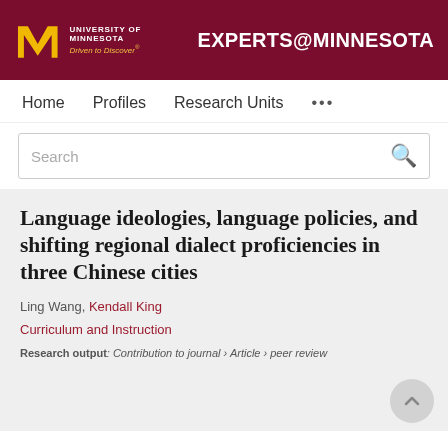University of Minnesota — Driven to Discover® | EXPERTS@MINNESOTA
Home   Profiles   Research Units   ...
Search
Language ideologies, language policies, and shifting regional dialect proficiencies in three Chinese cities
Ling Wang, Kendall King
Curriculum and Instruction
Research output: Contribution to journal › Article › peer review